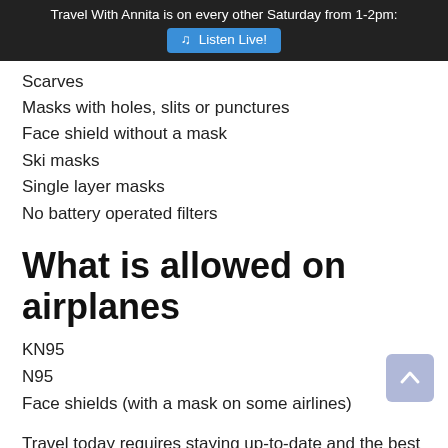Travel With Annita is on every other Saturday from 1-2pm: 🎵 Listen Live!
Scarves
Masks with holes, slits or punctures
Face shield without a mask
Ski masks
Single layer masks
No battery operated filters
What is allowed on airplanes
KN95
N95
Face shields (with a mask on some airlines)
Travel today requires staying up-to-date and the best way to make sure you have the latest requirements is to visit your carrier's website or call your airline and speak with a representative.
Questions about travel insurance? Click here